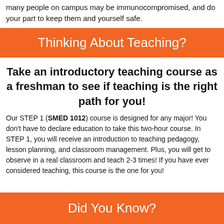many people on campus may be immunocompromised, and do your part to keep them and yourself safe.
Thinking About Teaching?
Take an introductory teaching course as a freshman to see if teaching is the right path for you!
Our STEP 1 (SMED 1012) course is designed for any major! You don't have to declare education to take this two-hour course. In STEP 1, you will receive an introduction to teaching pedagogy, lesson planning, and classroom management. Plus, you will get to observe in a real classroom and teach 2-3 times! If you have ever considered teaching, this course is the one for you!
Did You Know?